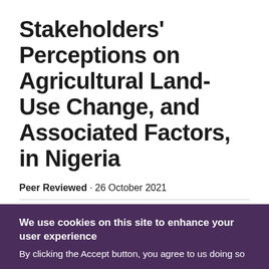Stakeholders' Perceptions on Agricultural Land-Use Change, and Associated Factors, in Nigeria
Peer Reviewed · 26 October 2021
Eberechukwu Johnpaul Ihemezie, Martin Dallimer
We use cookies on this site to enhance your user experience
By clicking the Accept button, you agree to us doing so